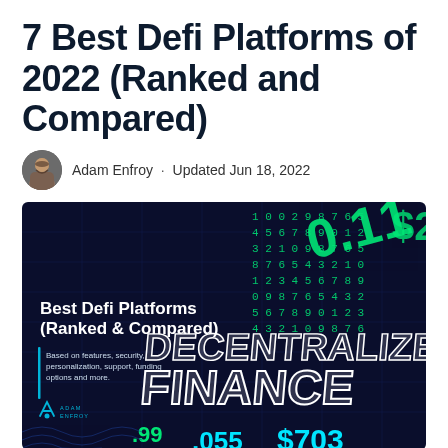7 Best Defi Platforms of 2022 (Ranked and Compared)
Adam Enfroy · Updated Jun 18, 2022
[Figure (illustration): Promotional image for 'Best Defi Platforms (Ranked & Compared)' with neon text reading 'DECENTRALIZED FINANCE' on a dark blue background with green financial data tickers and numbers including 0.11, $2, .99, .055, $703. Subtitle reads 'Based on features, security, personalization, support, funding options and more.' Adam Enfroy logo in bottom left.]